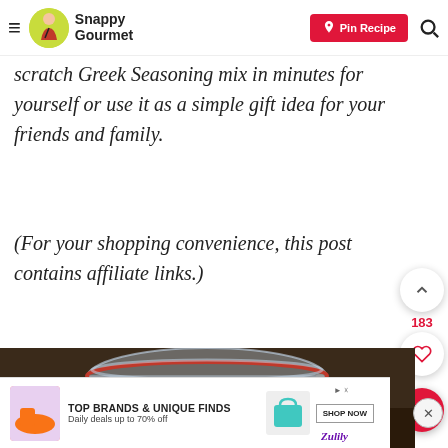Snappy Gourmet — Pin Recipe
scratch Greek Seasoning mix in minutes for yourself or use it as a simple gift idea for your friends and family.
(For your shopping convenience, this post contains affiliate links.)
[Figure (photo): Close-up photo of a glass jar with a hinged lid filled with Greek seasoning mix, sitting on a dark wood surface.]
TOP BRANDS & UNIQUE FINDS Daily deals up to 70% off SHOP NOW